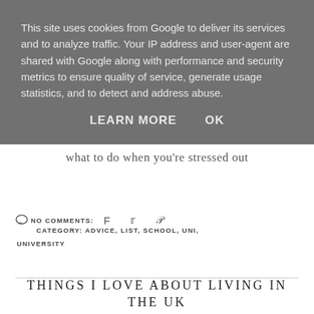This site uses cookies from Google to deliver its services and to analyze traffic. Your IP address and user-agent are shared with Google along with performance and security metrics to ensure quality of service, generate usage statistics, and to detect and address abuse.
LEARN MORE   OK
what to do when you're stressed out
NO COMMENTS:   CATEGORY: ADVICE, LIST, SCHOOL, UNI, UNIVERSITY
THINGS I LOVE ABOUT LIVING IN THE UK
Wednesday, 18 May 2016